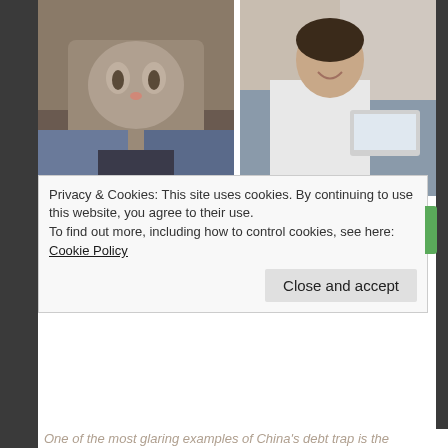[Figure (photo): Photo of a cat sitting between a person's legs/lap, with cat looking at camera]
[Figure (photo): Photo of a smiling woman in white shirt at a desk with laptop and documents]
Top 18 Reasons Why Cats Follow Us to The Bathroom
Geas Best
Top 10 Exclusive Scholarships for Moms
top10.recetasget.com
Posted by Nas Daily on Friday, March 1, 2019
Privacy & Cookies: This site uses cookies. By continuing to use this website, you agree to their use.
To find out more, including how to control cookies, see here: Cookie Policy
Close and accept
One of the most glaring examples of China's debt trap is the